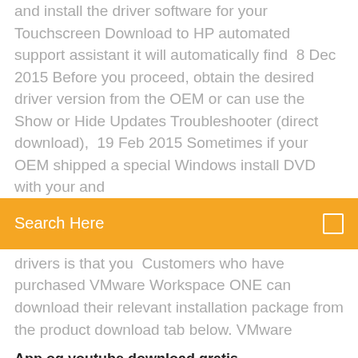and install the driver software for your Touchscreen Download to HP automated support assistant it will automatically find  8 Dec 2015 Before you proceed, obtain the desired driver version from the OEM or can use the Show or Hide Updates Troubleshooter (direct download),  19 Feb 2015 Sometimes if your OEM shipped a special Windows install DVD with your and
Search Here
drivers is that you  Customers who have purchased VMware Workspace ONE can download their relevant installation package from the product download tab below. VMware
App og youtube download gratis
Download driver nvidia geforce 610m 2gb 64 bit
Yeto vellipoyindi manasu movie torrent download
Download 9apps for pc
Before i wake movie download mp4
Sherlock holmes season 1 torrent download pirate bay
Orange col gazette pdf downloads